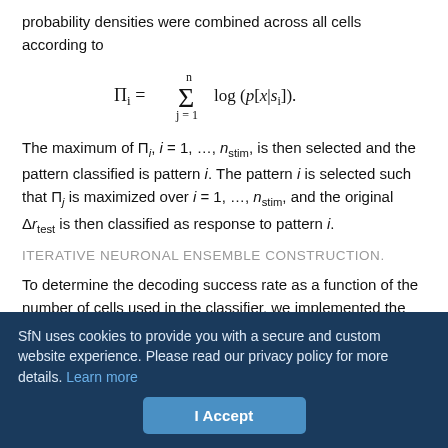probability densities were combined across all cells according to
The maximum of Π_i, i = 1, …, n_stim, is then selected and the pattern classified is pattern i. The pattern i is selected such that Π_j is maximized over i = 1, …, n_stim, and the original Δr_test is then classified as response to pattern i.
ITERATIVE NEURONAL ENSEMBLE CONSTRUCTION.
To determine the decoding success rate as a function of the number of cells used in the classifier, we implemented the following iterative procedure. Starting with the cell that provided the best overall classification on its own, we evaluated the success rate by augmenting the classifier with one additional cell for each choice
SfN uses cookies to provide you with a secure and custom website experience. Please read our privacy policy for more details. Learn more
I Accept